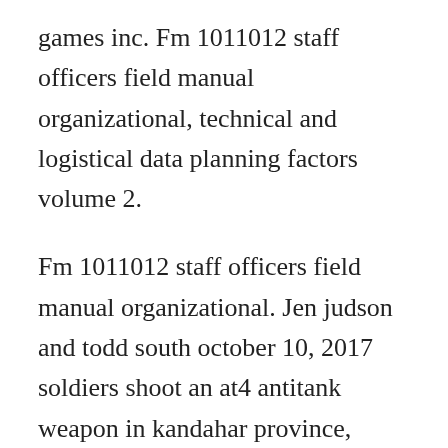games inc. Fm 1011012 staff officers field manual organizational, technical and logistical data planning factors volume 2.
Fm 1011012 staff officers field manual organizational. Jen judson and todd south october 10, 2017 soldiers shoot an at4 antitank weapon in kandahar province, afghanistan, in 2014. Benjamin koch added it may 19, if anyone is making the free worlds league look wholesome and strong, it is the godawful state of the mercenary market in jason arnold marked it as toread jun 27, brian